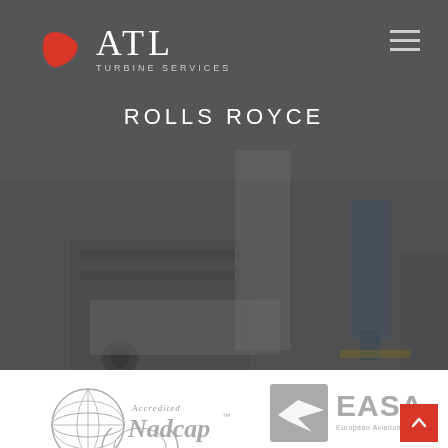[Figure (logo): ATL Turbine Services logo with red turbine swirl and white ATL text]
[Figure (illustration): Hamburger/menu icon (three horizontal lines, white) in top right of navigation bar]
ROLLS ROYCE
[Figure (photo): Darkened photo of industrial turbine service facility showing workers and equipment on a concrete floor]
[Figure (logo): Accredited Nadcap logo in grey]
[Figure (logo): EASA European Aviation Safety Agency logo in grey]
[Figure (illustration): Red square scroll-to-top button with white chevron/caret up symbol]
[Figure (logo): Partially visible third logo at bottom of page (grey circular design)]